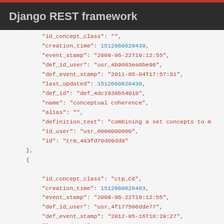Django REST framework
JSON code block showing REST API response with two objects containing fields: id_concept_class, creation_time, event_stamp, def_id_user, def_event_stamp, last_updated, def_id, name, alias, definition_text, id_user, id